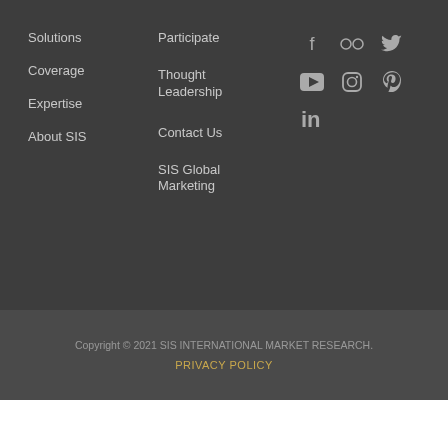Solutions
Coverage
Expertise
About SIS
Participate
Thought Leadership
Contact Us
SIS Global Marketing
[Figure (other): Social media icons: Facebook, Flickr, Twitter, YouTube, Instagram, Pinterest, LinkedIn]
We do not conduct Mystery Shopping or Secret Shopping
Copyright © 2021 SIS INTERNATIONAL MARKET RESEARCH.
PRIVACY POLICY